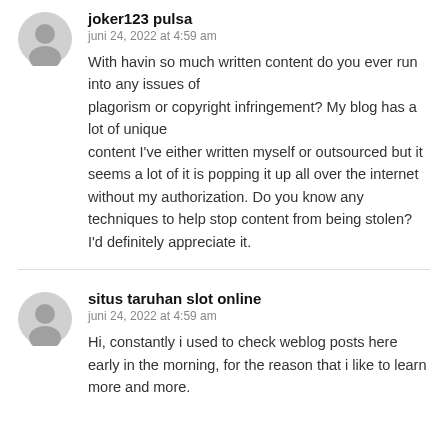joker123 pulsa
juni 24, 2022 at 4:59 am
With havin so much written content do you ever run into any issues of plagorism or copyright infringement? My blog has a lot of unique content I've either written myself or outsourced but it seems a lot of it is popping it up all over the internet without my authorization. Do you know any techniques to help stop content from being stolen? I'd definitely appreciate it.
situs taruhan slot online
juni 24, 2022 at 4:59 am
Hi, constantly i used to check weblog posts here early in the morning, for the reason that i like to learn more and more.